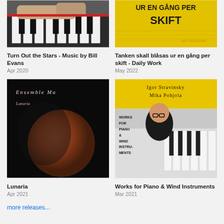[Figure (photo): Hands playing a piano, close-up, black and white piano keys visible]
[Figure (photo): Yellow sign with black text reading 'UR EN GÅNG PER SKIFT', IVO NILSSON text in yellow at bottom right]
Turn Out the Stars - Music by Bill Evans
Apr 2020
Tanken skall blåsas ur en gång per skift - Daily Work
May 2022
[Figure (photo): Album cover for Lunaria by Ensemble Ma, showing a blood moon against a black background with text 'Ensemble Ma Lunaria']
[Figure (photo): Album cover showing Igor Stravinsky Mika Pohjola Works for Piano & Wind Instruments, man in black in front of piano keys on yellow background]
Lunaria
Apr 2021
Works for Piano & Wind Instruments
Mar 2021
more releases...